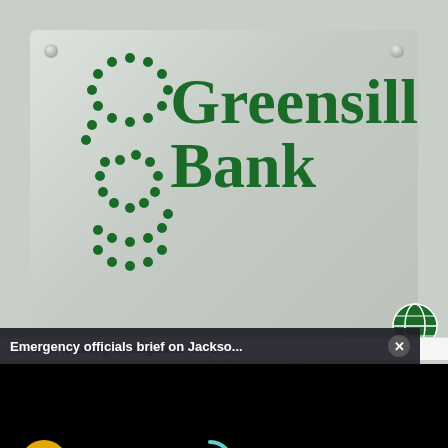[Figure (photo): Greensill Bank sign on a grey wall — green dotted logo on left, 'Greensill Bank' in large green serif text on right, four silver screws at corners]
[Figure (screenshot): Video player popup with dark title bar reading 'Emergency officials brief on Jacko...' with close button, black video screen with yellow mute button and teal loading arc]
in downtown Bremen
has sacked staff and number of
Sections  NY Edition  Philly  Games  Advertise  Sign Up